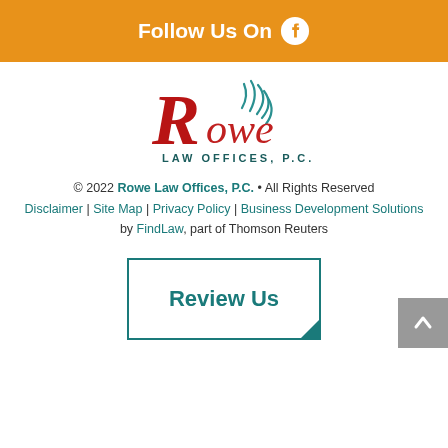Follow Us On
[Figure (logo): Rowe Law Offices, P.C. logo with stylized R and pineapple design]
© 2022 Rowe Law Offices, P.C. • All Rights Reserved
Disclaimer | Site Map | Privacy Policy | Business Development Solutions by FindLaw, part of Thomson Reuters
[Figure (other): Review Us button with teal border and corner mark]